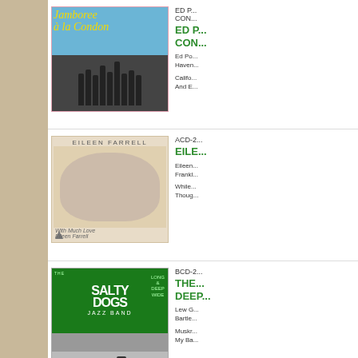[Figure (photo): Album cover: Jamboree a la Condon - jazz band group photo on blue background with yellow script text]
ED P... CON...
Ed Po... Haven...
Califo... And E...
[Figure (photo): Album cover: Eileen Farrell - smiling woman portrait on cream/tan background with handwritten dedication 'With Much Love, Eileen Farrell']
ACD-2...
EILE...
Eileen... Frankl...
While... Thoug...
[Figure (photo): Album cover: The Salty Dogs Jazz Band - green cover with white bold text SALTY DOGS JAZZ BAND, LONG & DEEP WIDE, with band performing on stage below]
BCD-2...
THE... DEEP...
Lew G... Bartle...
Muskr... My Ba...